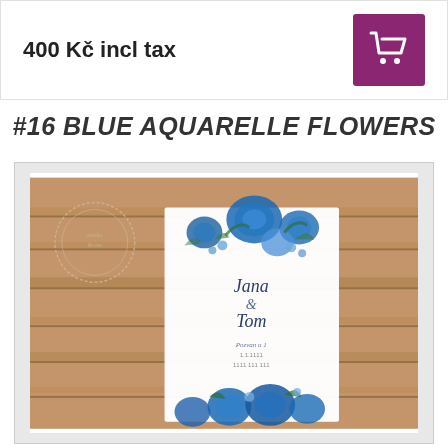400 Kč incl tax
#16 BLUE AQUARELLE FLOWERS
[Figure (photo): Wedding invitation card with blue aquarelle flower design, placed on a wooden background. A circular stamp/logo is visible in the top-left corner. The card shows names 'Jana' and 'Tom' in script font with floral decorations.]